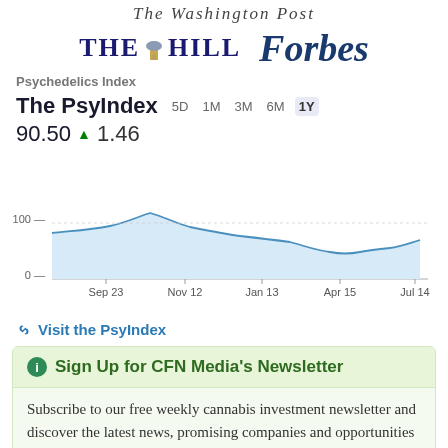[Figure (logo): The Washington Post logo (masthead script)]
[Figure (logo): The Hill and Forbes logos side by side]
Psychedelics Index
[Figure (continuous-plot): The PsyIndex 1Y line chart showing index value from Sep 23 to Jul 14, with value 90.50 up 1.46. Y-axis shows 0 and 100. Line starts around 115, peaks near 125 around Nov 12, then declines to about 80 around Apr 15 before recovering to about 95 at Jul 14.]
🔗 Visit the PsyIndex
ℹ Sign Up for CFN Media's Newsletter
Subscribe to our free weekly cannabis investment newsletter and discover the latest news, promising companies and opportunities in the space.